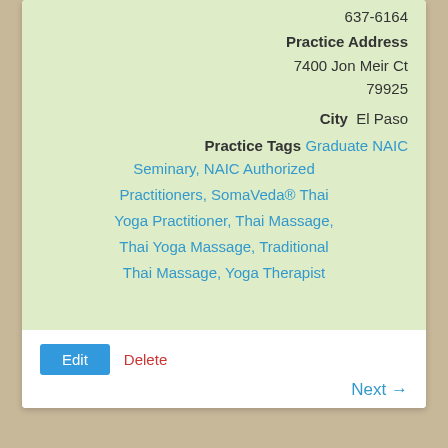637-6164
Practice Address
7400 Jon Meir Ct
79925
City  El Paso
Practice Tags  Graduate NAIC Seminary, NAIC Authorized Practitioners, SomaVeda® Thai Yoga Practitioner, Thai Massage, Thai Yoga Massage, Traditional Thai Massage, Yoga Therapist
Edit
Delete
Next →